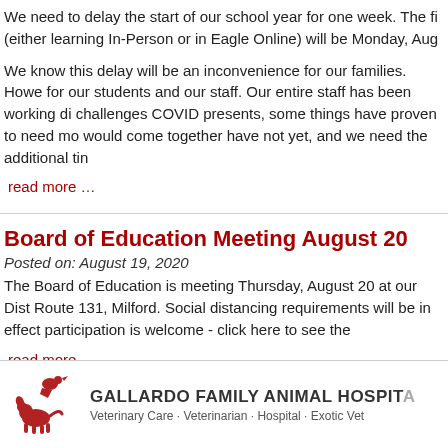We need to delay the start of our school year for one week. The fi (either learning In-Person or in Eagle Online) will be Monday, Aug
We know this delay will be an inconvenience for our families. Howe for our students and our staff. Our entire staff has been working di challenges COVID presents, some things have proven to need mo would come together have not yet, and we need the additional tin
read more …
Board of Education Meeting August 20
Posted on: August 19, 2020
The Board of Education is meeting Thursday, August 20 at our Dist Route 131, Milford. Social distancing requirements will be in effect participation is welcome - click here to see the
read more …
[Figure (logo): Gallardo Family Animal Hospital logo with red animal silhouettes (bird and dog), name in bold uppercase, and tagline 'Veterinary Care · Veterinarian · Hospital · Exotic Vet']